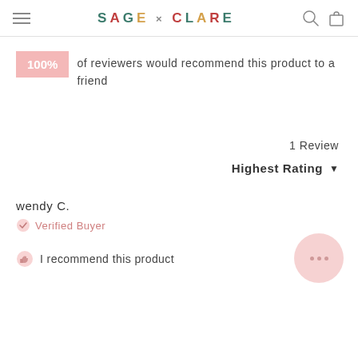SAGE × CLARE
100% of reviewers would recommend this product to a friend
1 Review
Highest Rating ▼
wendy C.
Verified Buyer
I recommend this product